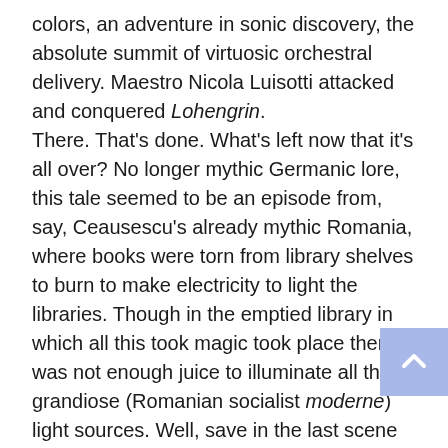colors, an adventure in sonic discovery, the absolute summit of virtuosic orchestral delivery. Maestro Nicola Luisotti attacked and conquered Lohengrin. There. That's done. What's left now that it's all over? No longer mythic Germanic lore, this tale seemed to be an episode from, say, Ceausescu's already mythic Romania, where books were torn from library shelves to burn to make electricity to light the libraries. Though in the emptied library in which all this took magic took place there was not enough juice to illuminate all the grandiose (Romanian socialist moderne) light sources. Well, save in the last scene when Lohengrin finally was going to save the masses. But bowed out. The masses were magnificent socialists, eighty mighty workers (plus a few sword and standard bearers) who whispered in shimmering sounds and roared in full, transparent tones. But with such idealistic and obviously pleasurable glory in their sonority, and willing unity in their